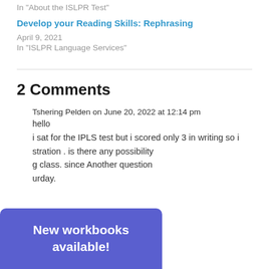In "About the ISLPR Test"
Develop your Reading Skills: Rephrasing
April 9, 2021
In "ISLPR Language Services"
2 Comments
Tshering Pelden on June 20, 2022 at 12:14 pm
hello
i sat for the IPLS test but i scored only 3 in writing so i ration . is there any possibility g class. since Another question urday.
New workbooks available!